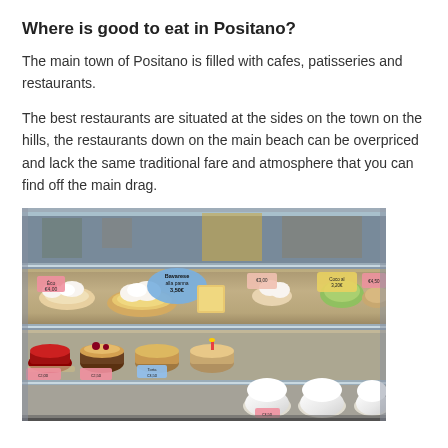Where is good to eat in Positano?
The main town of Positano is filled with cafes, patisseries and restaurants.
The best restaurants are situated at the sides on the town on the hills, the restaurants down on the main beach can be overpriced and lack the same traditional fare and atmosphere that you can find off the main drag.
[Figure (photo): A patisserie display case in Positano showing multiple shelves of pastries, small cakes, and desserts with price tags. The top shelf shows various cream pastries and what appears to be a flan or tart with price signs including 'Bavarese alla panna 3.50€'. The lower shelves show small individual cakes and dome-shaped desserts.]